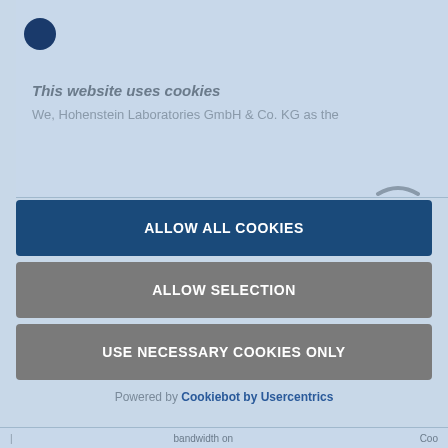[Figure (screenshot): Blue filled circle icon/logo at top left of cookie consent dialog]
This website uses cookies
We, Hohenstein Laboratories GmbH & Co. KG as the
ALLOW ALL COOKIES
ALLOW SELECTION
USE NECESSARY COOKIES ONLY
Powered by Cookiebot by Usercentrics
bandwidth on   Coo